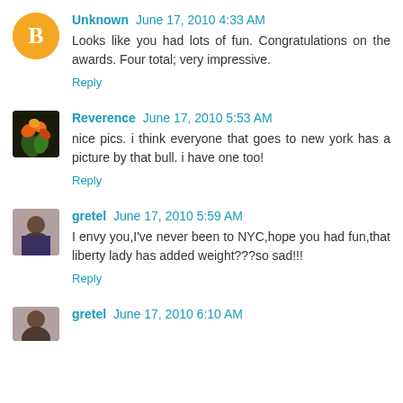Unknown June 17, 2010 4:33 AM
Looks like you had lots of fun. Congratulations on the awards. Four total; very impressive.
Reply
Reverence June 17, 2010 5:53 AM
nice pics. i think everyone that goes to new york has a picture by that bull. i have one too!
Reply
gretel June 17, 2010 5:59 AM
I envy you,I've never been to NYC,hope you had fun,that liberty lady has added weight???so sad!!!
Reply
gretel June 17, 2010 6:10 AM